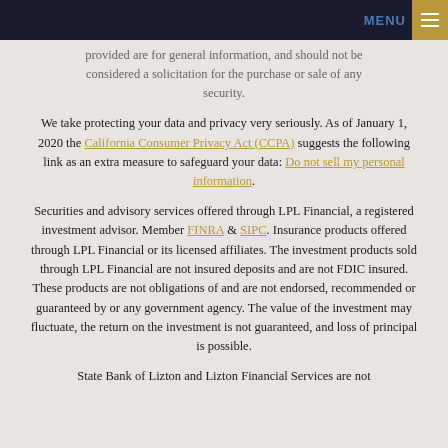MENU
provided are for general information, and should not be considered a solicitation for the purchase or sale of any security.
We take protecting your data and privacy very seriously. As of January 1, 2020 the California Consumer Privacy Act (CCPA) suggests the following link as an extra measure to safeguard your data: Do not sell my personal information.
Securities and advisory services offered through LPL Financial, a registered investment advisor. Member FINRA & SIPC. Insurance products offered through LPL Financial or its licensed affiliates. The investment products sold through LPL Financial are not insured deposits and are not FDIC insured. These products are not obligations of and are not endorsed, recommended or guaranteed by or any government agency. The value of the investment may fluctuate, the return on the investment is not guaranteed, and loss of principal is possible.
State Bank of Lizton and Lizton Financial Services are not